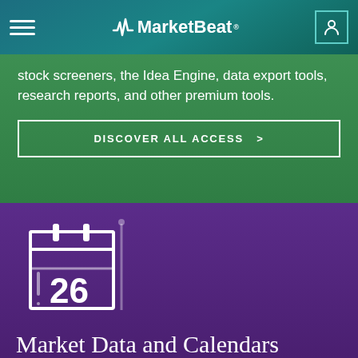MarketBeat
stock screeners, the Idea Engine, data export tools, research reports, and other premium tools.
DISCOVER ALL ACCESS  >
[Figure (illustration): Calendar icon with the number 26, white outline on purple background]
Market Data and Calendars
Looking for new stock ideas? Want to see which stocks are moving? View our full suite of financial data and calendars and more!